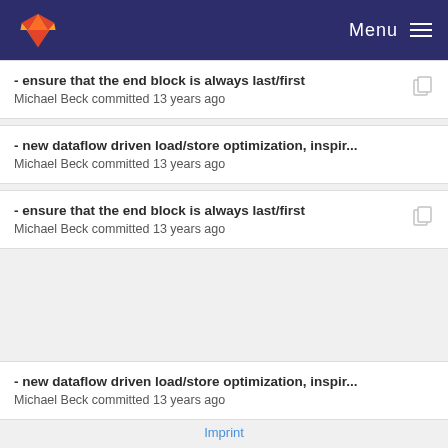Menu
- ensure that the end block is always last/first
Michael Beck committed 13 years ago
- new dataflow driven load/store optimization, inspir...
Michael Beck committed 13 years ago
- ensure that the end block is always last/first
Michael Beck committed 13 years ago
- new dataflow driven load/store optimization, inspir...
Michael Beck committed 13 years ago
Imprint